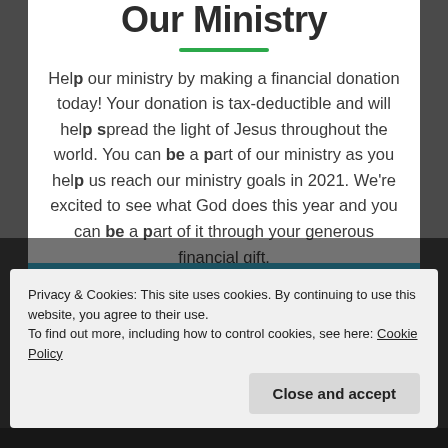Our Ministry
Help our ministry by making a financial donation today! Your donation is tax-deductible and will help spread the light of Jesus throughout the world. You can be a part of our ministry as you help us reach our ministry goals in 2021. We're excited to see what God does this year and you can be a part of it through your generous financial gift.
[Figure (logo): Green leaf logo with 'MAKE AN ETERNAL' text in green on a blue banner]
Privacy & Cookies: This site uses cookies. By continuing to use this website, you agree to their use.
To find out more, including how to control cookies, see here: Cookie Policy
Close and accept